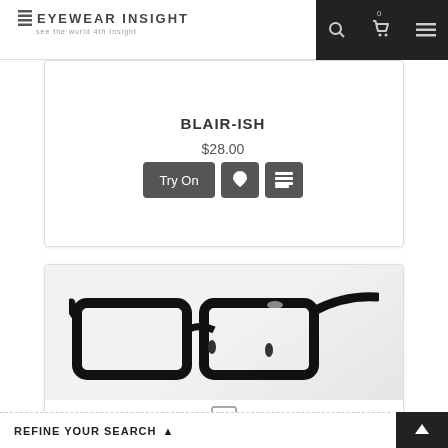EYEWEAR INSIGHT — see the world 4th Insight
BLAIR-ISH
$28.00
Try On
[Figure (photo): Black rectangular eyeglasses frame (BOBBY) shown from a side-angle perspective on a light grey/white background]
BOBBY
REFINE YOUR SEARCH ▲